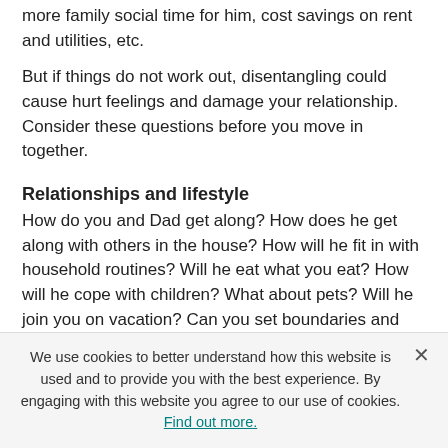more family social time for him, cost savings on rent and utilities, etc.
But if things do not work out, disentangling could cause hurt feelings and damage your relationship. Consider these questions before you move in together.
Relationships and lifestyle
How do you and Dad get along? How does he get along with others in the house? How will he fit in with household routines? Will he eat what you eat? How will he cope with children? What about pets? Will he join you on vacation? Can you set boundaries and negotiate when issues arise? Are others in the house up for this change?
Physical space
Can you accommodate him and still have privacy? Will he have his own bedroom or private space? Do you need to install grab bars or a riser seat on the toilet? Is there space for his clothes
We use cookies to better understand how this website is used and to provide you with the best experience. By engaging with this website you agree to our use of cookies. Find out more.